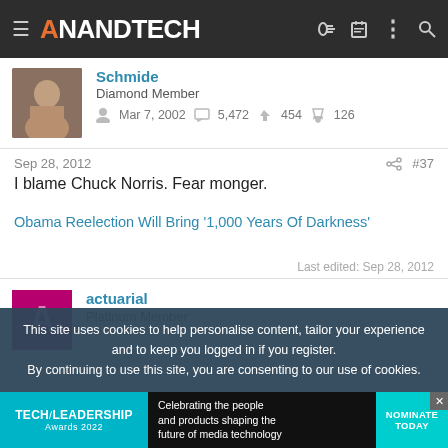AnandTech
Schmide
Diamond Member
Mar 7, 2002   5,472   454   126
Sep 28, 2012   #37
I blame Chuck Norris. Fear monger.
Obama Reelection Will Bring '1,000 Years Of Darkness'
Last edited: Sep 28, 2012
actuarial
Platinum Member
This site uses cookies to help personalise content, tailor your experience and to keep you logged in if you register.
By continuing to use this site, you are consenting to our use of cookies.
[Figure (screenshot): Tech Leadership Awards 2022 advertisement banner: Celebrating the people and products shaping the future of media technology. NOMINATE TODAY.]